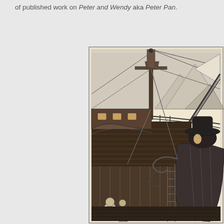of published work on Peter and Wendy aka Peter Pan.
[Figure (illustration): Black and white engraving illustration showing a tall ship's deck scene with masts, rigging, ropes, a curved ship railing with ornate details, mountains in the background, and figures including a large cloaked character in the foreground right and smaller figures below on the left.]